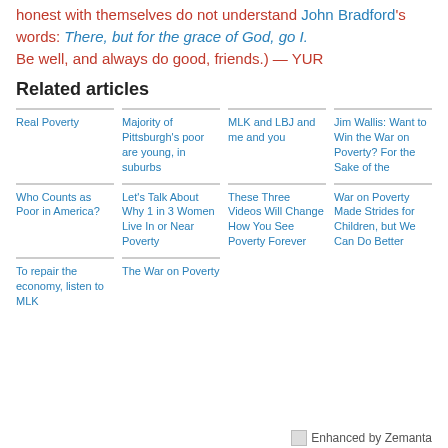honest with themselves do not understand John Bradford's words:  There, but for the grace of God, go I. Be well, and always do good, friends.)  —  YUR
Related articles
Real Poverty
Majority of Pittsburgh's poor are young, in suburbs
MLK and LBJ and me and you
Jim Wallis: Want to Win the War on Poverty? For the Sake of the
Who Counts as Poor in America?
Let's Talk About Why 1 in 3 Women Live In or Near Poverty
These Three Videos Will Change How You See Poverty Forever
War on Poverty Made Strides for Children, but We Can Do Better
To repair the economy, listen to MLK
The War on Poverty
Enhanced by Zemanta